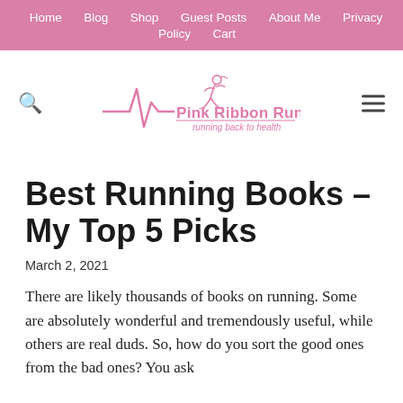Home  Blog  Shop  Guest Posts  About Me  Privacy Policy  Cart
[Figure (logo): Pink Ribbon Runner logo — a female runner silhouette with a heartbeat line, text 'Pink Ribbon Runner' and tagline 'running back to health' in pink]
Best Running Books – My Top 5 Picks
March 2, 2021
There are likely thousands of books on running. Some are absolutely wonderful and tremendously useful, while others are real duds. So, how do you sort the good ones from the bad ones? You ask